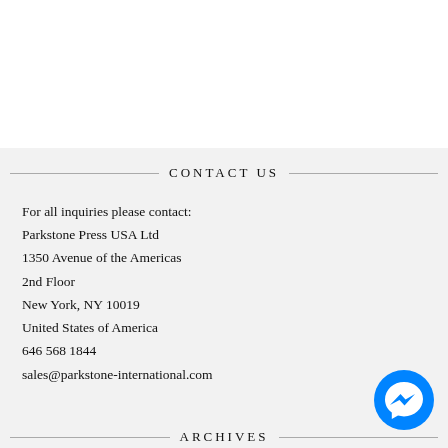CONTACT US
For all inquiries please contact:
Parkstone Press USA Ltd
1350 Avenue of the Americas
2nd Floor
New York, NY 10019
United States of America
646 568 1844
sales@parkstone-international.com
ARCHIVES